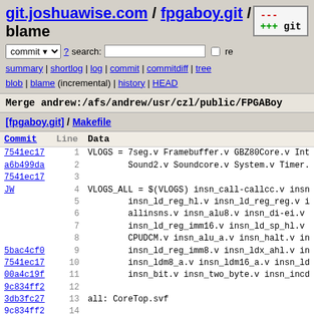git.joshuawise.com / fpgaboy.git / blame
commit ? search: re
summary | shortlog | log | commit | commitdiff | tree blob | blame (incremental) | history | HEAD
Merge andrew:/afs/andrew/usr/czl/public/FPGABoy
[fpgaboy.git] / Makefile
| Commit | Line | Data |
| --- | --- | --- |
| 7541ec17 | 1 | VLOGS = 7seg.v Framebuffer.v GBZ80Core.v Int |
| a6b499da | 2 |         Sound2.v Soundcore.v System.v Timer. |
| 7541ec17 | 3 |  |
| JW | 4 | VLOGS_ALL = $(VLOGS) insn_call-callcc.v insn |
|  | 5 |         insn_ld_reg_hl.v insn_ld_reg_reg.v i |
|  | 6 |         allinsns.v insn_alu8.v insn_di-ei.v |
|  | 7 |         insn_ld_reg_imm16.v insn_ld_sp_hl.v |
|  | 8 |         CPUDCM.v insn_alu_a.v insn_halt.v in |
| 5bac4cf0 | 9 |         insn_ld_reg_imm8.v insn_ldx_ahl.v in |
| 7541ec17 | 10 |         insn_ldm8_a.v insn_ldm16_a.v insn_ld |
| 00a4c19f | 11 |         insn_bit.v insn_two_byte.v insn_incd |
| 9c834ff2 | 12 |  |
| 3db3fc27 | 13 | all: CoreTop.svf |
| 9c834ff2 | 14 |  |
| 7541ec17 | 15 | sim: CoreTop_isim.exe |
| JW | 16 |  |
| 49c326da | 17 | CoreTop.ngc: CoreTop.xst CoreTop.prj $(VLOGS |
| 9c834ff2 | 18 |         .xst: ifn_xst.xst ifn_CoreTop. |